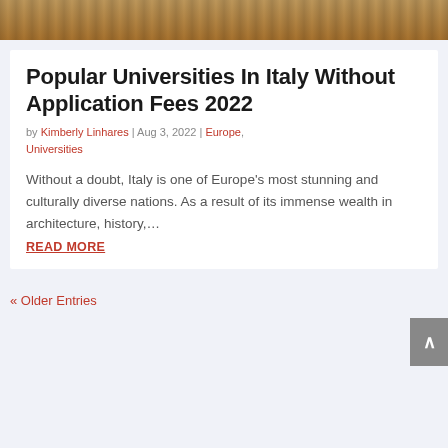[Figure (photo): Top portion of a building photograph, warm brown/orange tones showing architectural facade at night]
Popular Universities In Italy Without Application Fees 2022
by Kimberly Linhares | Aug 3, 2022 | Europe, Universities
Without a doubt, Italy is one of Europe's most stunning and culturally diverse nations. As a result of its immense wealth in architecture, history,…
READ MORE
« Older Entries